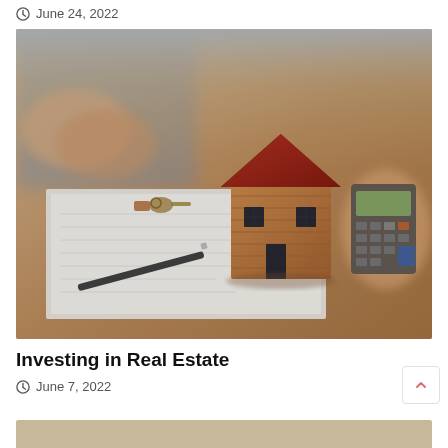June 24, 2022
[Figure (photo): A small wooden toy house model sitting on documents/paperwork on a table, with a pen, keys, and a calculator nearby. Two people are visible with their hands, appearing to be in a real estate or financial consultation meeting.]
Investing in Real Estate
June 7, 2022